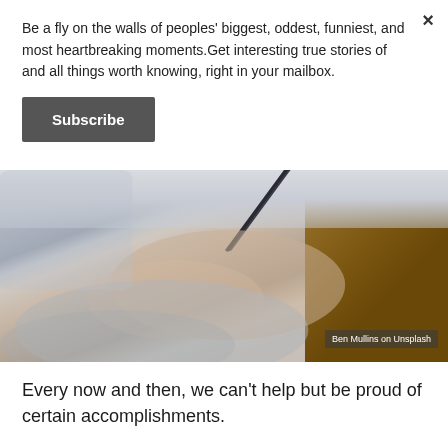Be a fly on the walls of peoples' biggest, oddest, funniest, and most heartbreaking moments.Get interesting true stories of and all things worth knowing, right in your mailbox.
Subscribe
[Figure (photo): Close-up photo of a person's hand writing with a pencil on paper, resting on a wooden desk. The person is wearing a light grey/blue sweater. Photo credit: Ben Mullins on Unsplash.]
Every now and then, we can't help but be proud of certain accomplishments.
Graduating from college or grad school, earning a promotion at work, hosting your first...